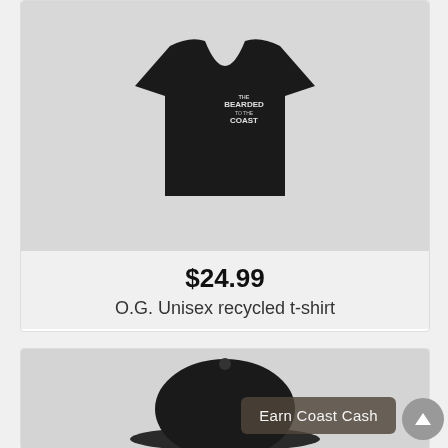[Figure (photo): Black unisex t-shirt with 'The Bearded Coast' logo on chest, displayed on a white/light background]
$24.99
O.G. Unisex recycled t-shirt
[Figure (photo): Black baseball cap partially visible at bottom of page]
Earn Coast Cash